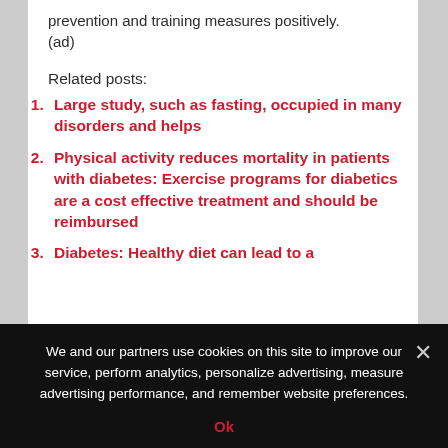prevention and training measures positively.
(ad)
Related posts:
Large study, such as fasting, occupied in many disorders and helps
Physical activity reduces mortality in patients with diabetes: Exercise programs for diabetics are a cost effective treatment and should be reimbursed
Diabetes: Healthy diet can lead to a
We and our partners use cookies on this site to improve our service, perform analytics, personalize advertising, measure advertising performance, and remember website preferences.
Ok